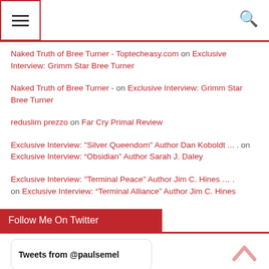Navigation header with hamburger menu and search icon
Naked Truth of Bree Turner - Toptecheasy.com on Exclusive Interview: Grimm Star Bree Turner
Naked Truth of Bree Turner - on Exclusive Interview: Grimm Star Bree Turner
reduslim prezzo on Far Cry Primal Review
Exclusive Interview: "Silver Queendom" Author Dan Koboldt ... . on Exclusive Interview: “Obsidian” Author Sarah J. Daley
Exclusive Interview: "Terminal Peace" Author Jim C. Hines ... . on Exclusive Interview: “Terminal Alliance” Author Jim C. Hines
Follow Me On Twitter
Tweets from @paulsemel